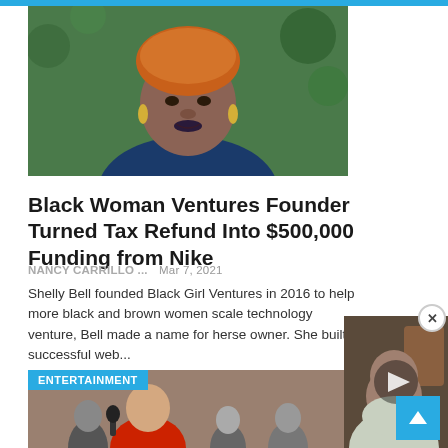[Figure (photo): Portrait photo of a Black woman with colorful headwrap, large earrings, and dark lipstick, standing in front of green foliage]
Black Woman Ventures Founder Turned Tax Refund Into $500,000 Funding from Nike
NANCY CARRILLO ...   Mar 7, 2021
Shelly Bell founded Black Girl Ventures in 2016 to help more black and brown women scale technology venture, Bell made a name for herse owner. She built a successful web...
[Figure (photo): ENTERTAINMENT badge overlay on photo of man in red shirt being interviewed]
[Figure (photo): Video overlay showing man in light hoodie with play button]